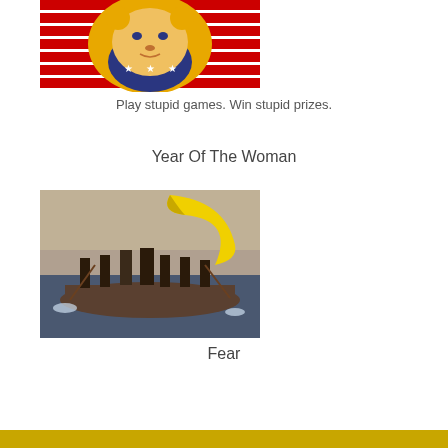[Figure (logo): Lion head logo with American flag stripes in red and white, blue shield with stars on chin, golden mane]
Play stupid games. Win stupid prizes.
Year Of The Woman
[Figure (photo): Washington Crossing the Delaware painting parody with a large banana added to the scene]
Fear